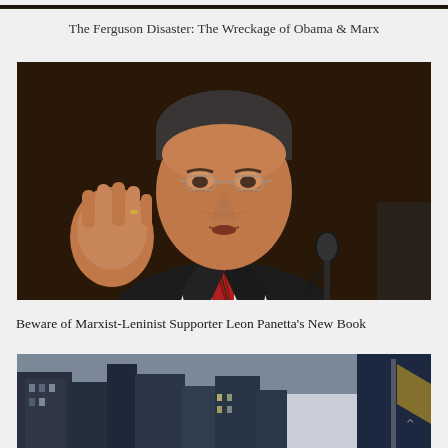[Figure (photo): Partial top image strip, dark background, barely visible at top of page]
The Ferguson Disaster: The Wreckage of Obama & Marx
[Figure (photo): Photo of Leon Panetta in dark suit and striped red tie, gesturing with right hand raised, speaking into a microphone, dark background]
Beware of Marxist-Leninist Supporter Leon Panetta's New Book
[Figure (photo): Partial bottom image of city buildings/skyline, dark blue tones, with a small up-arrow icon in the lower right]